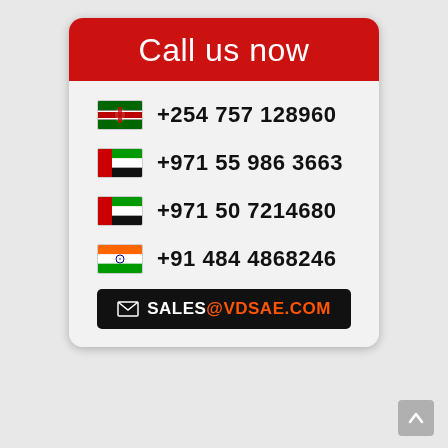Call us now
+254 757 128960
+971 55 986 3663
+971 50 7214680
+91 484 4868246
SALES@VDSAE.COM